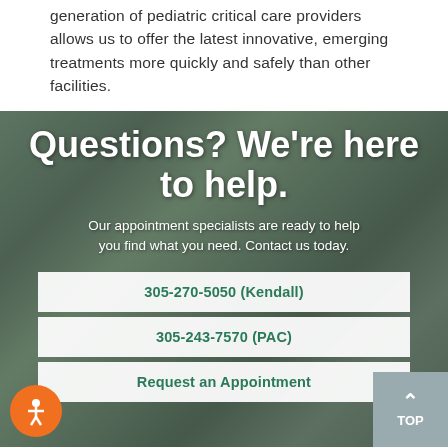generation of pediatric critical care providers allows us to offer the latest innovative, emerging treatments more quickly and safely than other facilities.
[Figure (photo): Hospital building exterior with palm trees in the background, used as background image for a contact/help banner section]
Questions? We're here to help.
Our appointment specialists are ready to help you find what you need. Contact us today.
305-270-5050 (Kendall)
305-243-7570 (PAC)
Request an Appointment